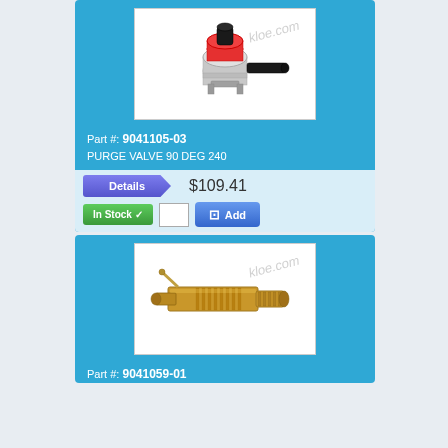[Figure (photo): Purge valve product image - red and black valve component with watermark 'kloe.com']
Part #: 9041105-03
PURGE VALVE 90 DEG 240
Details  $109.41
In Stock ✓  [qty input]  Add
[Figure (photo): Brass valve/fitting product image with watermark 'kloe.com']
Part #: 9041059-01